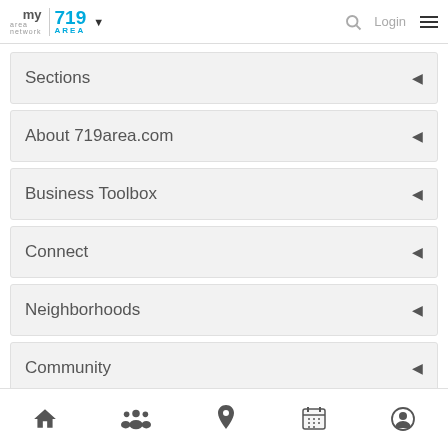my area network | 719 AREA
Sections
About 719area.com
Business Toolbox
Connect
Neighborhoods
Community
Home | Community | Location | Calendar | Profile